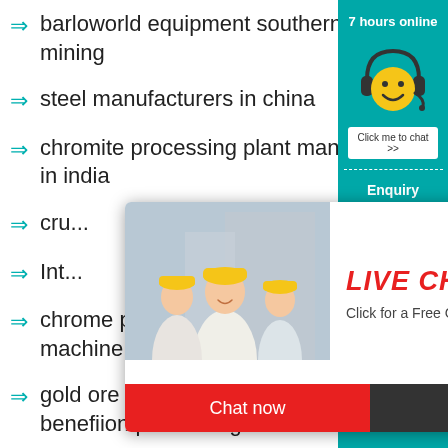barloworld equipment southern africa mining
steel manufacturers in china
chromite processing plant manufacturers in india
cru...
Int...
chrome processing plant sale ... machine for sale
gold ore quarry used south afri... benefiion plant in nigeria
[Figure (screenshot): Live chat popup overlay with photo of workers in hard hats, LIVE CHAT heading in red italic, 'Click for a Free Consultation' subtitle, 'Chat now' red button and 'Chat later' dark button]
[Figure (infographic): Teal right sidebar showing '7 hours online', smiley face with headset, 'Click me to chat >>' button, dashed divider, 'Enquiry' label, and 'superbrian707@g...' email]